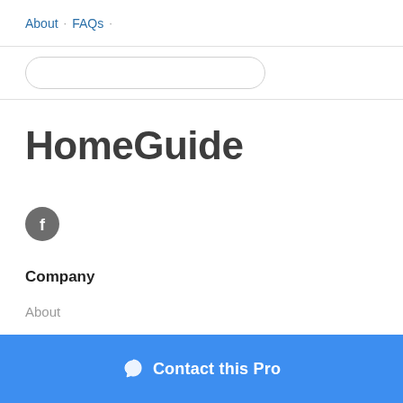About · FAQs ·
HomeGuide
[Figure (logo): Facebook icon — grey circle with white letter f]
Company
About
…
Contact this Pro